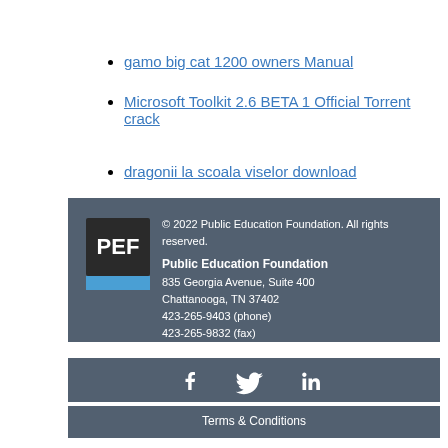gamo big cat 1200 owners Manual
Microsoft Toolkit 2.6 BETA 1 Official Torrent crack
dragonii la scoala viselor download
[Figure (logo): PEF (Public Education Foundation) logo — dark square with white PEF letters and a blue horizontal banner beneath]
© 2022 Public Education Foundation. All rights reserved. Public Education Foundation 835 Georgia Avenue, Suite 400 Chattanooga, TN 37402 423-265-9403 (phone) 423-265-9832 (fax)
[Figure (infographic): Social media icons: Facebook, Twitter, LinkedIn in white]
Terms & Conditions